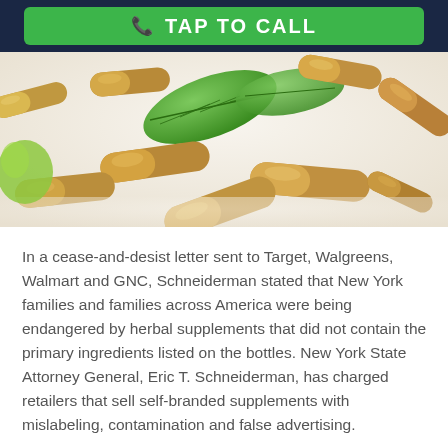TAP TO CALL
[Figure (photo): Close-up photo of multiple tan/beige herbal supplement capsules and pills scattered on a white surface with green leaves in the background.]
In a cease-and-desist letter sent to Target, Walgreens, Walmart and GNC, Schneiderman stated that New York families and families across America were being endangered by herbal supplements that did not contain the primary ingredients listed on the bottles. New York State Attorney General, Eric T. Schneiderman, has charged retailers that sell self-branded supplements with mislabeling, contamination and false advertising.